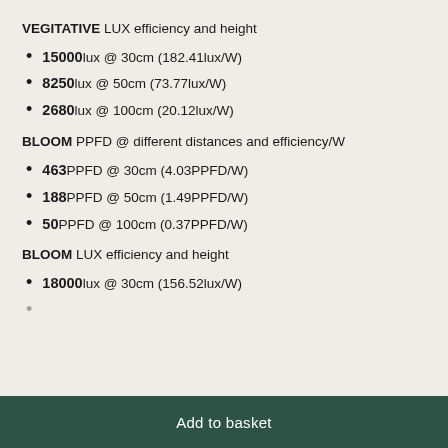VEGITATIVE LUX efficiency and height
15000lux @ 30cm (182.41lux/W)
8250lux @ 50cm (73.77lux/W)
2680lux @ 100cm (20.12lux/W)
BLOOM PPFD @ different distances and efficiency/W
463PPFD @ 30cm (4.03PPFD/W)
188PPFD @ 50cm (1.49PPFD/W)
50PPFD @ 100cm (0.37PPFD/W)
BLOOM LUX efficiency and height
18000lux @ 30cm (156.52lux/W)
Add to basket